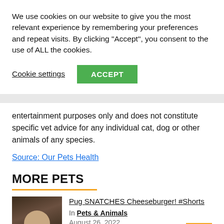We use cookies on our website to give you the most relevant experience by remembering your preferences and repeat visits. By clicking "Accept", you consent to the use of ALL the cookies.
Cookie settings  ACCEPT
entertainment purposes only and does not constitute specific vet advice for any individual cat, dog or other animals of any species.
Source: Our Pets Health
MORE PETS
[Figure (photo): Thumbnail image of a person holding a cheeseburger, dark background]
Pug SNATCHES Cheeseburger! #Shorts
In Pets & Animals
August 26, 2022
🤣🍔🐶New Hamburglar just dropped!
#FunniestDogs #DogMemes